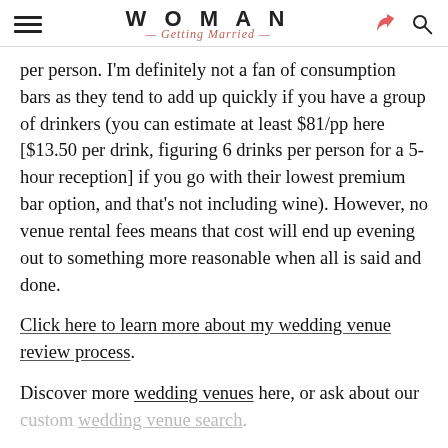WOMAN Getting Married
per person. I'm definitely not a fan of consumption bars as they tend to add up quickly if you have a group of drinkers (you can estimate at least $81/pp here [$13.50 per drink, figuring 6 drinks per person for a 5-hour reception] if you go with their lowest premium bar option, and that's not including wine). However, no venue rental fees means that cost will end up evening out to something more reasonable when all is said and done.
Click here to learn more about my wedding venue review process.
Discover more wedding venues here, or ask about our custom wedding venue search.